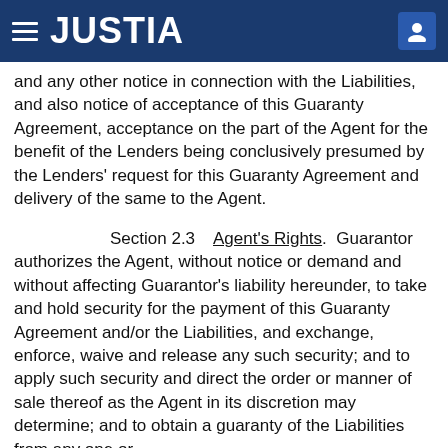JUSTIA
and any other notice in connection with the Liabilities, and also notice of acceptance of this Guaranty Agreement, acceptance on the part of the Agent for the benefit of the Lenders being conclusively presumed by the Lenders' request for this Guaranty Agreement and delivery of the same to the Agent.
Section 2.3    Agent's Rights.  Guarantor authorizes the Agent, without notice or demand and without affecting Guarantor's liability hereunder, to take and hold security for the payment of this Guaranty Agreement and/or the Liabilities, and exchange, enforce, waive and release any such security; and to apply such security and direct the order or manner of sale thereof as the Agent in its discretion may determine; and to obtain a guaranty of the Liabilities from any one or